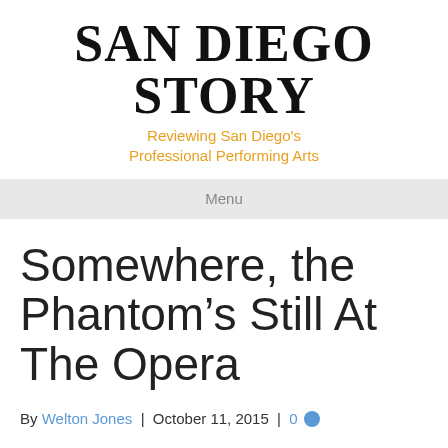SAN DIEGO STORY
Reviewing San Diego's Professional Performing Arts
Menu
Somewhere, the Phantom’s Still At The Opera
By Welton Jones | October 11, 2015 | 0